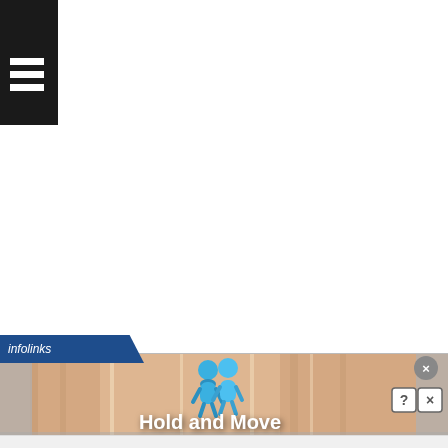[Figure (screenshot): Top-left black navigation bar with white hamburger menu icon (three horizontal lines)]
[Figure (screenshot): Infolinks advertisement banner showing a bowling lane background with two blue 3D character figures and bold white text 'Hold and Move'. Has close (X) button, help (?) and X control buttons, and an infolinks tab label at top-left.]